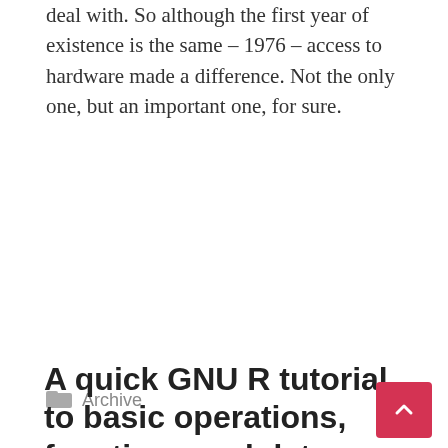deal with. So although the first year of existence is the same – 1976 – access to hardware made a difference. Not the only one, but an important one, for sure.
Read more
Archive
A quick GNU R tutorial to basic operations, functions and data structures